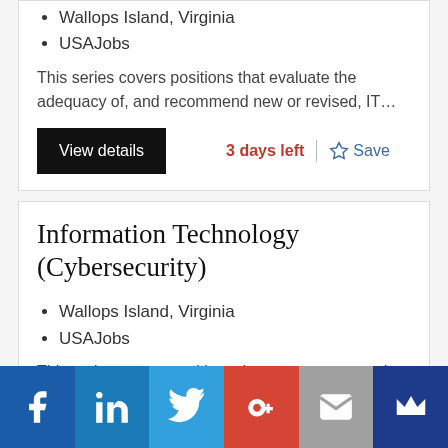Wallops Island, Virginia
USAJobs
This series covers positions that evaluate the adequacy of, and recommend new or revised, IT…
View details | 3 days left | Save
Information Technology (Cybersecurity)
Wallops Island, Virginia
USAJobs
This series covers positions that manage, supervise, lead, administer, develop, deliver, and support…